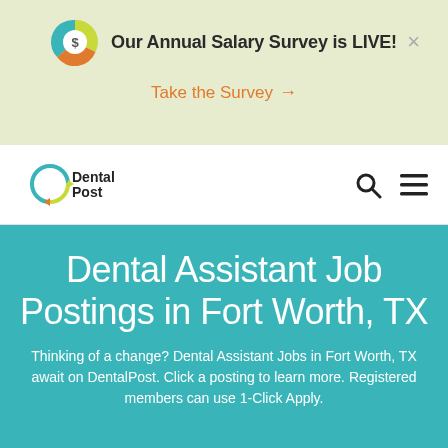[Figure (infographic): Salary survey banner with circular chart icon showing dollar sign]
Our Annual Salary Survey is LIVE!
Take the Survey →
[Figure (logo): DentalPost logo with circular arrows icon in teal and orange]
Dental Assistant Job Postings in Fort Worth, TX
Thinking of a change? Dental Assistant Jobs in Fort Worth, TX await on DentalPost. Click a posting to learn more. Registered members can use 1-Click Apply.